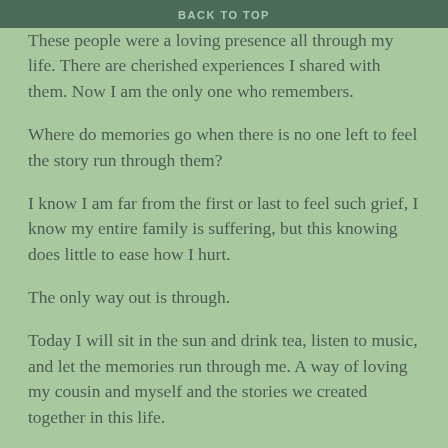BACK TO TOP
These people were a loving presence all through my life. There are cherished experiences I shared with them. Now I am the only one who remembers.
Where do memories go when there is no one left to feel the story run through them?
I know I am far from the first or last to feel such grief, I know my entire family is suffering, but this knowing does little to ease how I hurt.
The only way out is through.
Today I will sit in the sun and drink tea, listen to music, and let the memories run through me. A way of loving my cousin and myself and the stories we created together in this life.